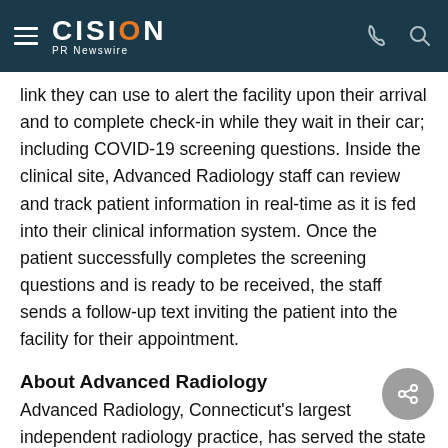CISION PR Newswire
link they can use to alert the facility upon their arrival and to complete check-in while they wait in their car; including COVID-19 screening questions. Inside the clinical site, Advanced Radiology staff can review and track patient information in real-time as it is fed into their clinical information system. Once the patient successfully completes the screening questions and is ready to be received, the staff sends a follow-up text inviting the patient into the facility for their appointment.
About Advanced Radiology
Advanced Radiology, Connecticut's largest independent radiology practice, has served the state